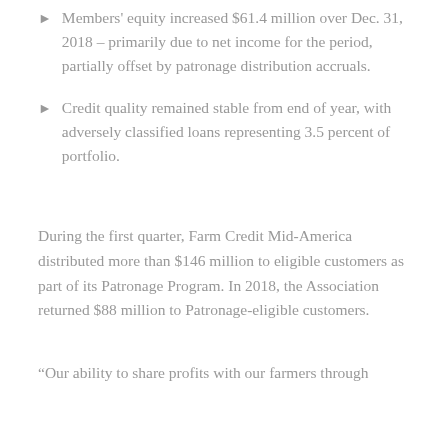Members' equity increased $61.4 million over Dec. 31, 2018 – primarily due to net income for the period, partially offset by patronage distribution accruals.
Credit quality remained stable from end of year, with adversely classified loans representing 3.5 percent of portfolio.
During the first quarter, Farm Credit Mid-America distributed more than $146 million to eligible customers as part of its Patronage Program. In 2018, the Association returned $88 million to Patronage-eligible customers.
“Our ability to share profits with our farmers through